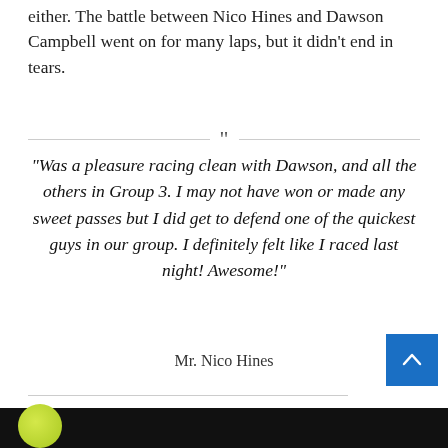either. The battle between Nico Hines and Dawson Campbell went on for many laps, but it didn't end in tears.
“Was a pleasure racing clean with Dawson, and all the others in Group 3. I may not have won or made any sweet passes but I did get to defend one of the quickest guys in our group. I definitely felt like I raced last night! Awesome!”
Mr. Nico Hines